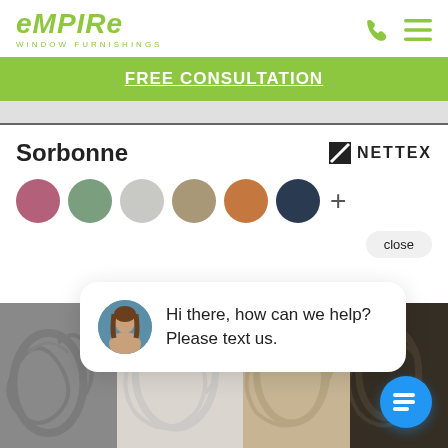[Figure (logo): Empire Window Furnishings logo in lime green with phone and hamburger menu icons]
FREE CONSULTATION
Sorbonne
[Figure (logo): Nettex brand logo with slash icon]
[Figure (illustration): Color swatches: dusty rose, sage green, light grey, khaki/tan, copper/terracotta, dark navy, plus sign]
close
Hi there, how can we help? Please text us.
[Figure (photo): Four overlapping fabric samples with floral/damask patterns in grey, white, beige, and dark brown/charcoal colors]
[Figure (illustration): Blue circular chat icon button with message lines]